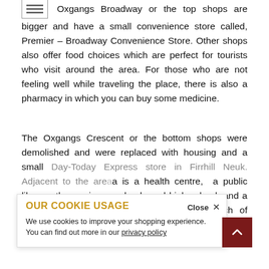Oxgangs Broadway or the top shops are bigger and have a small convenience store called, Premier – Broadway Convenience Store. Other shops also offer food choices which are perfect for tourists who visit around the area. For those who are not feeling well while traveling the place, there is also a pharmacy in which you can buy some medicine.
The Oxgangs Crescent or the bottom shops were demolished and were replaced with housing and a small Day-Today Express store in Firrhill Neuk. Adjacent to the area is a health centre, a public library, three primary schools and high school, and a pub. There are also three churches: Church of Scotland, Scottish Episcopal Church, and St. Mark Roman Catholic Church.
OUR COOKIE USAGE
We use cookies to improve your shopping experience. You can find out more in our privacy policy